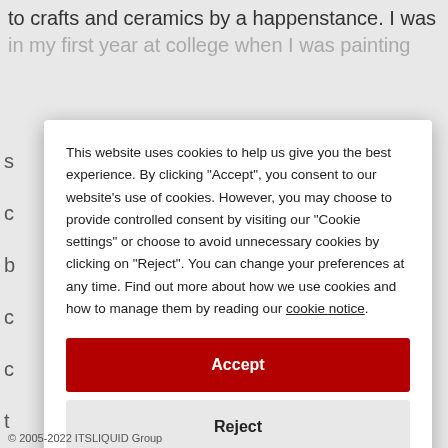to crafts and ceramics by a happenstance. I was in my first year at college when I was painting
This website uses cookies to help us give you the best experience. By clicking "Accept", you consent to our website's use of cookies. However, you may choose to provide controlled consent by visiting our "Cookie settings" or choose to avoid unnecessary cookies by clicking on "Reject". You can change your preferences at any time. Find out more about how we use cookies and how to manage them by reading our cookie notice.
Accept
Reject
Cookie settings
© 2005-2022 ITSLIQUID Group